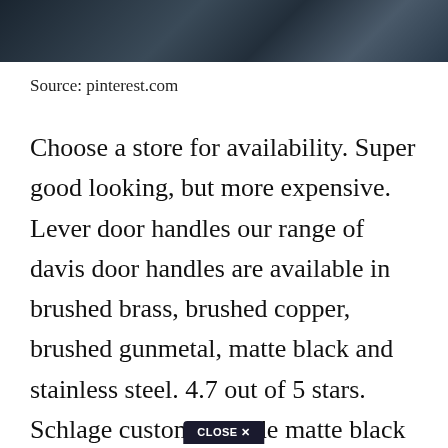[Figure (photo): Dark colored photo strip showing what appears to be a door handle or hardware product in dark/gunmetal tones]
Source: pinterest.com
Choose a store for availability. Super good looking, but more expensive. Lever door handles our range of davis door handles are available in brushed brass, brushed copper, brushed gunmetal, matte black and stainless steel. 4.7 out of 5 stars. Schlage custom latitude matte black collins trim combined interior door lever.